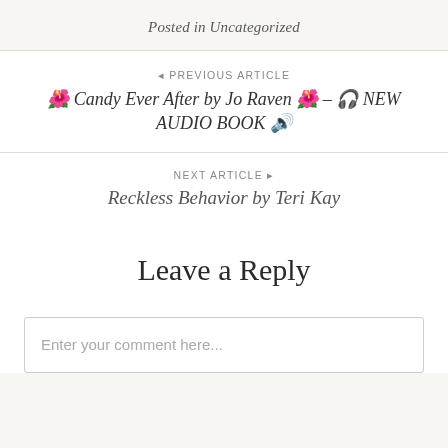Posted in Uncategorized
◄ PREVIOUS ARTICLE
🌺 Candy Ever After by Jo Raven 🌺 – 🎧 NEW AUDIO BOOK 🔊
NEXT ARTICLE ►
Reckless Behavior by Teri Kay
Leave a Reply
Enter your comment here...